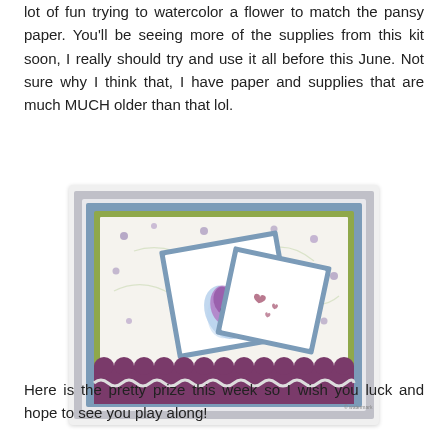lot of fun trying to watercolor a flower to match the pansy paper. You'll be seeing more of the supplies from this kit soon, I really should try and use it all before this June. Not sure why I think that, I have paper and supplies that are much MUCH older than that lol.
[Figure (photo): A handmade greeting card featuring a floral pansy patterned background with blue, green, and purple layers. Two white cards with blue borders are placed on top at angles — one shows a watercolored purple flower with green leaves, and the other is blank. A purple scalloped border and white ric-rac trim decorate the bottom.]
Here is the pretty prize this week so I wish you luck and hope to see you play along!